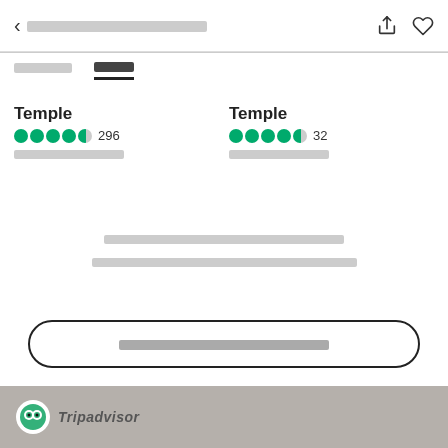< [redacted navigation title]
[Tab 1] [Tab 2 - active]
Temple  ●●●●◐  296  [redacted category]
Temple  ●●●●◐  32  [redacted category]
[redacted message text line 1]
[redacted message text line 2]
[redacted button label]
[Figure (logo): TripAdvisor owl logo in white circle on gray footer bar]